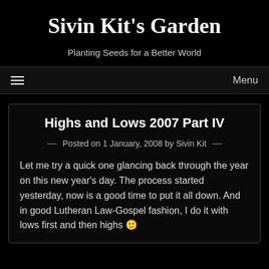Sivin Kit's Garden
Planting Seeds for a Better World
Menu
Highs and Lows 2007 Part IV
Posted on 1 January, 2008 by Sivin Kit
Let me try a quick one glancing back through the year on this new year's day. The process started yesterday, now is a good time to put it all down. And in good Lutheran Law-Gospel fashion, I do it with lows first and then highs 🙂